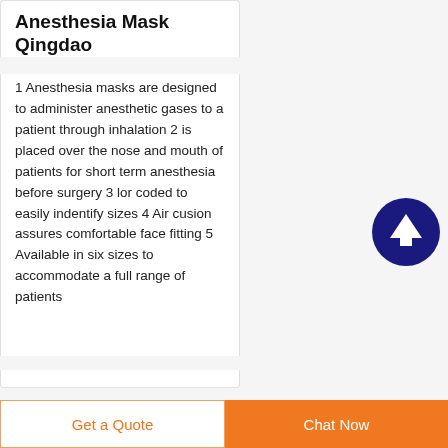Anesthesia Mask Qingdao
1 Anesthesia masks are designed to administer anesthetic gases to a patient through inhalation 2 is placed over the nose and mouth of patients for short term anesthesia before surgery 3 lor coded to easily indentify sizes 4 Air cusion assures comfortable face fitting 5 Available in six sizes to accommodate a full range of patients
[Figure (other): Dark navy blue circular scroll-to-top button with white upward arrow icon]